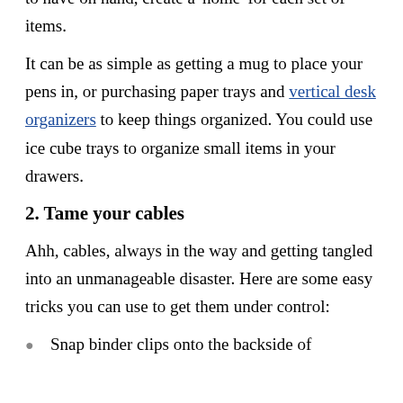to have on hand, create a 'home' for each set of items.
It can be as simple as getting a mug to place your pens in, or purchasing paper trays and vertical desk organizers to keep things organized. You could use ice cube trays to organize small items in your drawers.
2. Tame your cables
Ahh, cables, always in the way and getting tangled into an unmanageable disaster. Here are some easy tricks you can use to get them under control:
Snap binder clips onto the backside of